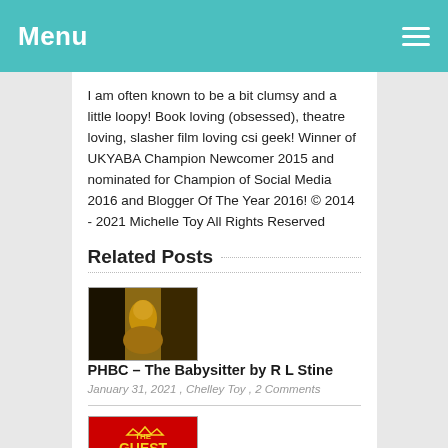Menu
I am often known to be a bit clumsy and a little loopy! Book loving (obsessed), theatre loving, slasher film loving csi geek! Winner of UKYABA Champion Newcomer 2015 and nominated for Champion of Social Media 2016 and Blogger Of The Year 2016! © 2014 - 2021 Michelle Toy All Rights Reserved
Related Posts
[Figure (photo): Thumbnail image for blog post about The Babysitter by R L Stine - dark book cover with person silhouette]
PHBC – The Babysitter by R L Stine
January 31, 2021 , Chelley Toy , 2 Comments
[Figure (photo): Thumbnail image for blog post - The Guest List book cover with red background and gold text]